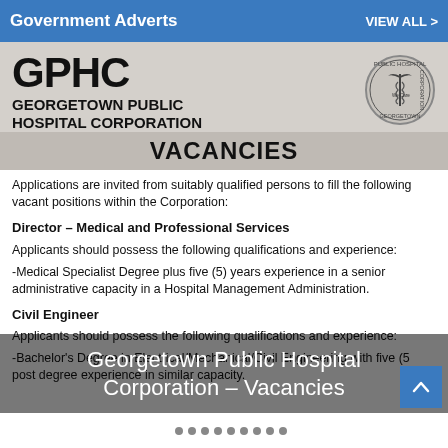Government Adverts   VIEW ALL >
GPHC GEORGETOWN PUBLIC HOSPITAL CORPORATION
VACANCIES
Applications are invited from suitably qualified persons to fill the following vacant positions within the Corporation:
Director – Medical and Professional Services
Applicants should possess the following qualifications and experience:
-Medical Specialist Degree plus five (5) years experience in a senior administrative capacity in a Hospital Management Administration.
Civil Engineer
Applicants should possess the following qualifications and experience:
-Bachelor's Degree in Electrical/Mechanical/Civil Engineering with five (5) post degree experience in similar capacity.
Georgetown Public Hospital Corporation – Vacancies